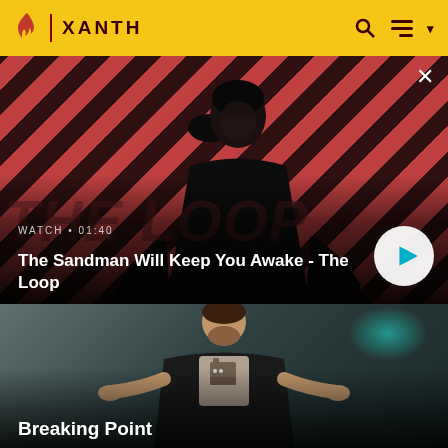XANTH
[Figure (screenshot): Hero card showing a dark-cloaked figure with a raven on shoulder against red diagonal stripe background. Text: WATCH • 01:40 / The Sandman Will Keep You Awake - The Loop, with a play button.]
WATCH • 01:40
The Sandman Will Keep You Awake - The Loop
[Figure (photo): Second card showing a bearded man in black cardigan with arms spread, robot t-shirt, against teal/grey background.]
Breaking Point